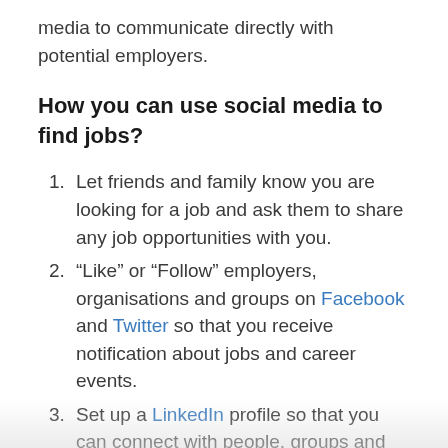media to communicate directly with potential employers.
How you can use social media to find jobs?
Let friends and family know you are looking for a job and ask them to share any job opportunities with you.
“Like” or “Follow” employers, organisations and groups on Facebook and Twitter so that you receive notification about jobs and career events.
Set up a LinkedIn profile so that you can connect with people, groups and events in relevant areas. You may also want to consider setting up profiles on